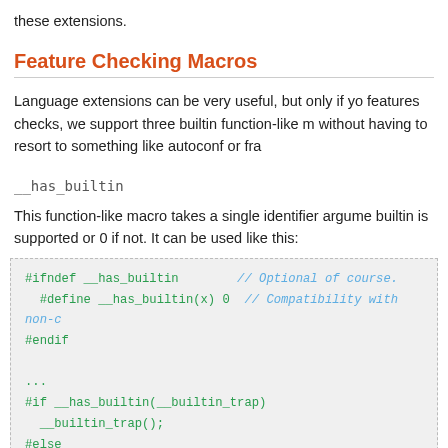these extensions.
Feature Checking Macros
Language extensions can be very useful, but only if you know features checks, we support three builtin function-like macros without having to resort to something like autoconf or fra
__has_builtin
This function-like macro takes a single identifier argument. builtin is supported or 0 if not. It can be used like this:
[Figure (screenshot): Code block showing C preprocessor macros: #ifndef __has_builtin with comment // Optional of course., #define __has_builtin(x) 0 with comment // Compatibility with non-c, #endif, ..., #if __has_builtin(__builtin_trap), __builtin_trap();, #else, abort();]